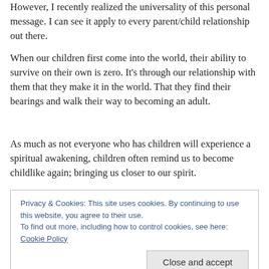However, I recently realized the universality of this personal message. I can see it apply to every parent/child relationship out there.
When our children first come into the world, their ability to survive on their own is zero. It's through our relationship with them that they make it in the world. That they find their bearings and walk their way to becoming an adult.
As much as not everyone who has children will experience a spiritual awakening, children often remind us to become childlike again; bringing us closer to our spirit.
Privacy & Cookies: This site uses cookies. By continuing to use this website, you agree to their use.
To find out more, including how to control cookies, see here: Cookie Policy
[Close and accept]